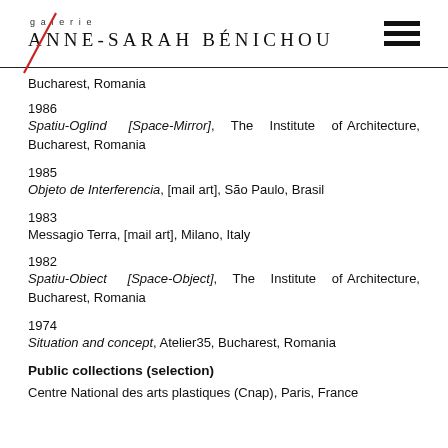galerie ANNE-SARAH BÉNICHOU
Bucharest, Romania
1986
Spatiu-Oglind [Space-Mirror], The Institute of Architecture, Bucharest, Romania
1985
Objeto de Interferencia, [mail art], São Paulo, Brasil
1983
Messagio Terra, [mail art], Milano, Italy
1982
Spatiu-Obiect [Space-Object], The Institute of Architecture, Bucharest, Romania
1974
Situation and concept, Atelier35, Bucharest, Romania
Public collections (selection)
Centre National des arts plastiques (Cnap), Paris, France